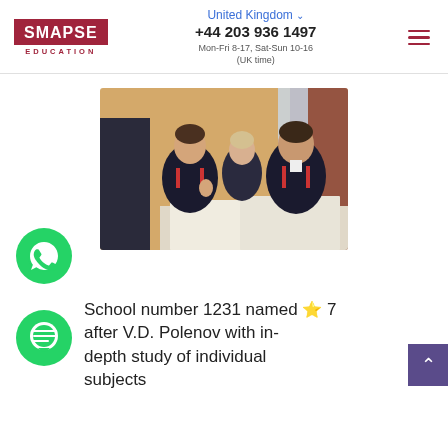SMAPSE EDUCATION | United Kingdom | +44 203 936 1497 | Mon-Fri 8-17, Sat-Sun 10-16 (UK time)
[Figure (photo): Three students in dark military-style uniforms sitting at a table with papers, in a decorated room with red curtains in the background.]
School number 1231 named ⭐ 7 after V.D. Polenov with in-depth study of individual subjects